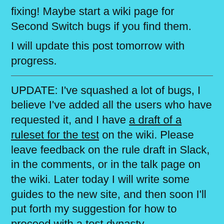fixing! Maybe start a wiki page for Second Switch bugs if you find them.
I will update this post tomorrow with progress.
UPDATE: I've squashed a lot of bugs, I believe I've added all the users who have requested it, and I have a draft of a ruleset for the test on the wiki. Please leave feedback on the rule draft in Slack, in the comments, or in the talk page on the wiki. Later today I will write some guides to the new site, and then soon I'll put forth my suggestion for how to proceed with a test dynasty.
UPDATE 2: I've published a primer on Elementor, an important part of how I've made the WordPress site, on the wiki. There is work to be done, and I'm sure there are bugs to be fixed, but I think we're getting close to kicking off a beta dynasty.